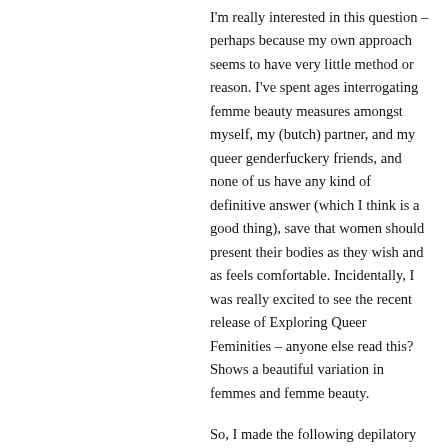I'm really interested in this question – perhaps because my own approach seems to have very little method or reason. I've spent ages interrogating femme beauty measures amongst myself, my (butch) partner, and my queer genderfuckery friends, and none of us have any kind of definitive answer (which I think is a good thing), save that women should present their bodies as they wish and as feels comfortable. Incidentally, I was really excited to see the recent release of Exploring Queer Feminities – anyone else read this? Shows a beautiful variation in femmes and femme beauty.
So, I made the following depilatory decisions (which change often, according to mood and occasion).
Head-hair – I've always had long wavy hair, and always loved it. However, I recently went into a chain hairdressers (first mistake), and asked for a rockabilly cut, which would emphasise the curls. They gave me a chin length bob and blow-dried it poker straight. I nearly cried (I hate hairdressers at the best of times, so